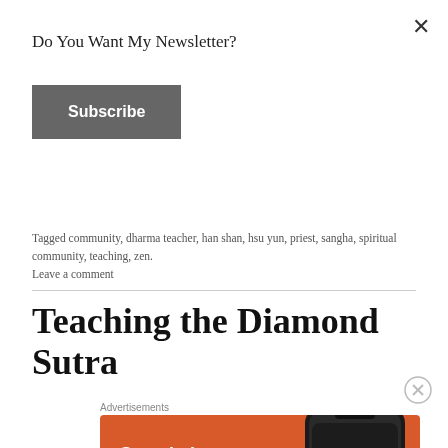Do You Want My Newsletter?
Subscribe
Tagged community, dharma teacher, han shan, hsu yun, priest, sangha, spiritual community, teaching, zen.
Leave a comment
Teaching the Diamond Sutra
Advertisements
[Figure (screenshot): DuckDuckGo advertisement banner: orange background with white text reading 'Search, browse, and email with more privacy. All in One Free App' with a phone graphic and DuckDuckGo logo.]